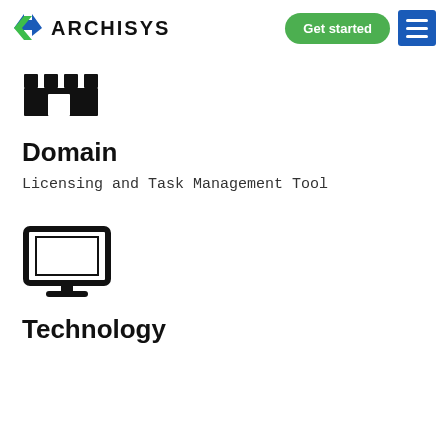ARCHISYS — Get started navigation
[Figure (illustration): Castle/fort battlements icon in black]
Domain
Licensing and Task Management Tool
[Figure (illustration): Desktop monitor / computer screen icon in black]
Technology